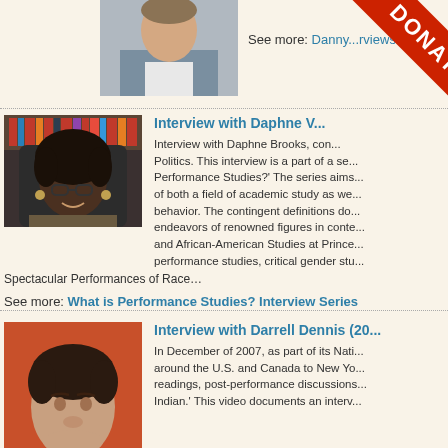[Figure (photo): Top person photo (partially visible, light blue shirt)]
See more: Danny...rviews
[Figure (photo): Photo of Daphne Brooks, smiling woman with glasses and natural hair, seated in office with bookshelves]
Interview with Daphne V...
Interview with Daphne Brooks, con... Politics. This interview is a part of a se... Performance Studies?' The series aims... of both a field of academic study as we... behavior. The contingent definitions do... endeavors of renowned figures in conte... and African-American Studies at Prince... performance studies, critical gender stu...
Spectacular Performances of Race…
See more: What is Performance Studies? Interview Series
[Figure (photo): Photo of Darrell Dennis, dark-haired man against orange-red background]
Interview with Darrell Dennis (20...
In December of 2007, as part of its Nati... around the U.S. and Canada to New Yo... readings, post-performance discussions... Indian.' This video documents an interv...